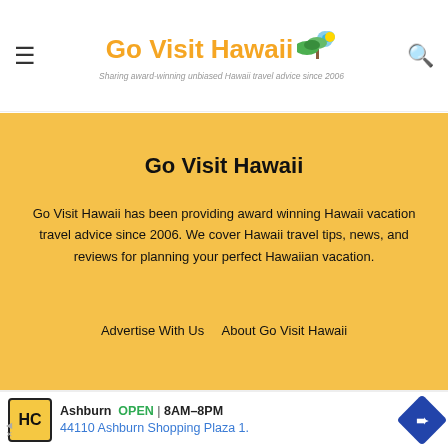Go Visit Hawaii — Sharing award-winning unbiased Hawaii travel advice since 2006
Go Visit Hawaii
Go Visit Hawaii has been providing award winning Hawaii vacation travel advice since 2006. We cover Hawaii travel tips, news, and reviews for planning your perfect Hawaiian vacation.
Advertise With Us    About Go Visit Hawaii
[Figure (screenshot): Advertisement banner: HC logo, Ashburn OPEN 8AM–8PM, 44110 Ashburn Shopping Plaza 1., navigation arrow icon]